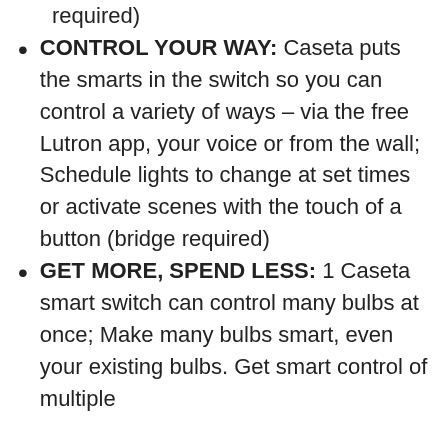required)
CONTROL YOUR WAY: Caseta puts the smarts in the switch so you can control a variety of ways – via the free Lutron app, your voice or from the wall; Schedule lights to change at set times or activate scenes with the touch of a button (bridge required)
GET MORE, SPEND LESS: 1 Caseta smart switch can control many bulbs at once; Make many bulbs smart, even your existing bulbs. Get smart control of multiple